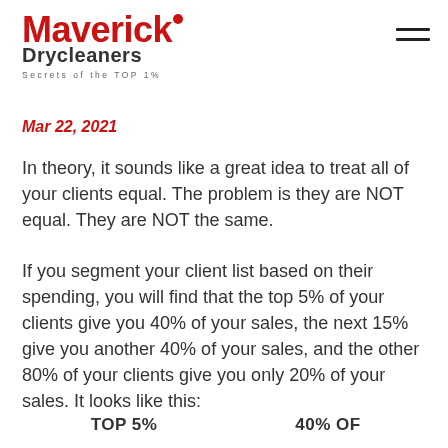[Figure (logo): Maverick Drycleaners logo with tagline 'Secrets of the TOP 1%']
Mar 22, 2021
In theory, it sounds like a great idea to treat all of your clients equal. The problem is they are NOT equal. They are NOT the same.
If you segment your client list based on their spending, you will find that the top 5% of your clients give you 40% of your sales, the next 15% give you another 40% of your sales, and the other 80% of your clients give you only 20% of your sales. It looks like this:
TOP 5%    40% OF